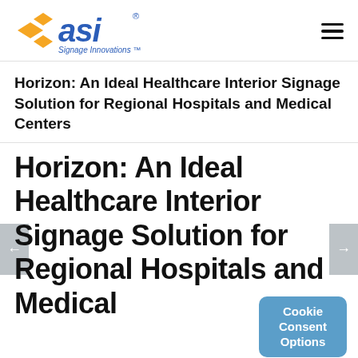[Figure (logo): ASI Signage Innovations logo with orange diamond shapes and blue 'asi' text and 'Signage Innovations TM' tagline]
Horizon: An Ideal Healthcare Interior Signage Solution for Regional Hospitals and Medical Centers
Horizon: An Ideal Healthcare Interior Signage Solution for Regional Hospitals and Medical